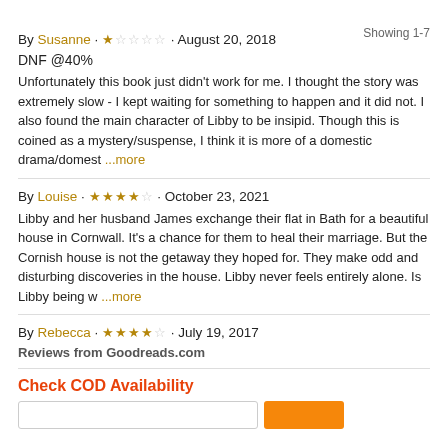Showing 1-7
By Susanne · ★☆☆☆☆ · August 20, 2018
DNF @40%
Unfortunately this book just didn't work for me. I thought the story was extremely slow - I kept waiting for something to happen and it did not. I also found the main character of Libby to be insipid. Though this is coined as a mystery/suspense, I think it is more of a domestic drama/domest ...more
By Louise · ★★★★☆ · October 23, 2021
Libby and her husband James exchange their flat in Bath for a beautiful house in Cornwall. It's a chance for them to heal their marriage. But the Cornish house is not the getaway they hoped for. They make odd and disturbing discoveries in the house. Libby never feels entirely alone. Is Libby being w ...more
By Rebecca · ★★★★☆ · July 19, 2017
Reviews from Goodreads.com
Check COD Availability